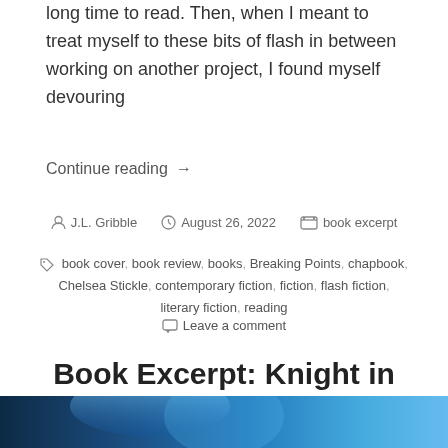long time to read. Then, when I meant to treat myself to these bits of flash in between working on another project, I found myself devouring
Continue reading →
J.L. Gribble  August 26, 2022  book excerpt
book cover, book review, books, Breaking Points, chapbook, Chelsea Stickle, contemporary fiction, fiction, flash fiction, literary fiction, reading
Leave a comment
Book Excerpt: Knight in Paper Armor by Nicholas Conley
[Figure (photo): Book cover image with blue tones at the bottom of the page]